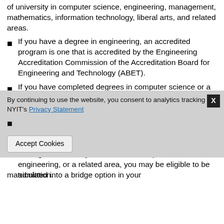of university in computer science, engineering, management, mathematics, information technology, liberal arts, and related areas.
If you have a degree in engineering, an accredited program is one that is accredited by the Engineering Accreditation Commission of the Accreditation Board for Engineering and Technology (ABET).
If you have completed degrees in computer science or a closely related field, an accredited program is one taken at a college that is regionally accredited, such as the Middle States Association of Colleges and Schools.
If you have an international baccalaureate degree or diploma which is equivalent to three years of undergraduate study in the U.S. in computer science, engineering, or a related area, you may be eligible to be admitted into a bridge option in your
matriculation.
By continuing to use the website, you consent to analytics tracking per NYIT's Privacy Statement
Accept Cookies